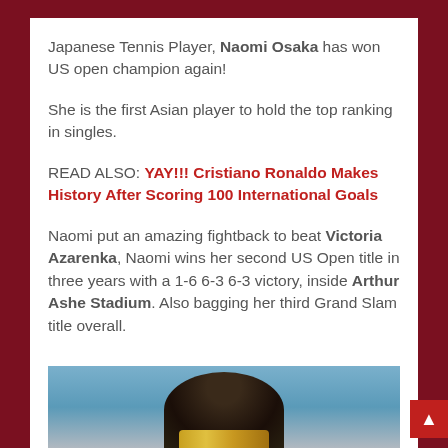Japanese Tennis Player, Naomi Osaka has won US open champion again!
She is the first Asian player to hold the top ranking in singles.
READ ALSO: YAY!!! Cristiano Ronaldo Makes History After Scoring 100 International Goals
Naomi put an amazing fightback to beat Victoria Azarenka, Naomi wins her second US Open title in three years with a 1-6 6-3 6-3 victory, inside Arthur Ashe Stadium. Also bagging her third Grand Slam title overall.
[Figure (photo): Photo of Naomi Osaka, showing top of her head against a blue background]